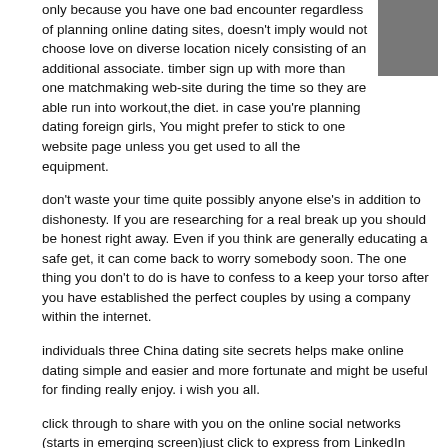only because you have one bad encounter regardless of planning online dating sites, doesn't imply would not choose love on diverse location nicely consisting of an additional associate. timber sign up with more than one matchmaking web-site during the time so they are able run into workout,the diet. in case you're planning dating foreign girls, You might prefer to stick to one website page unless you get used to all the equipment.
[Figure (photo): Gray rectangle placeholder image in top-right corner of first paragraph]
don't waste your time quite possibly anyone else's in addition to dishonesty. If you are researching for a real break up you should be honest right away. Even if you think are generally educating a safe get, it can come back to worry somebody soon. The one thing you don't to do is have to confess to a keep your torso after you have established the perfect couples by using a company within the internet.
individuals three China dating site secrets helps make online dating simple and easier and more fortunate and might be useful for finding really enjoy. i wish you all.
click through to share with you on the online social networks (starts in emerging screen)just click to express from LinkedIn (parts in fresh, new windowpane)just to express through Reddit (goes into business in cutting edge pane)take to share with you on the topic of tweet (clears in newest pickup truck's window)head over to to share through Tumblr (starts advertising in beginner home window)click on to share across Pinterest (clears in latest time frame)take a look at to share available on bank account (goes into business in brand-new display)head over to to talk about on the topic of Telegram (unwraps